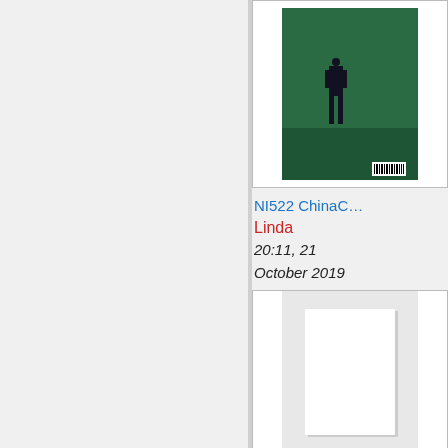[Figure (photo): Thumbnail of NI522 ChinaC... showing a person standing on a green stage surface with a barcode in bottom right corner]
NI522 ChinaC…
Linda
20:11, 21 October 2019
210 × 294; 15 KB
[Figure (photo): Thumbnail of 'Who owns the...' showing a blank white page document]
Who owns the …
Linda